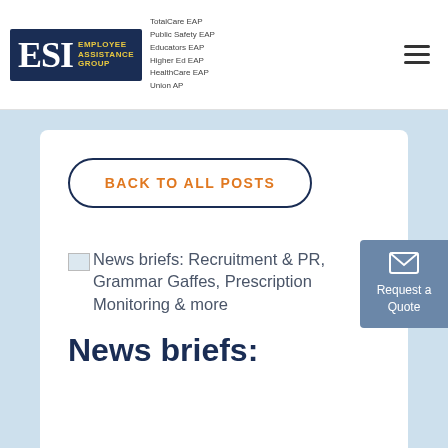[Figure (logo): ESI Employee Assistance Group logo with blue box, ESI text in white, yellow text reading EMPLOYEE ASSISTANCE GROUP, and list of services: TotalCare EAP, Public Safety EAP, Educators EAP, Higher Ed EAP, HealthCare EAP, Union AP]
TotalCare EAP
Public Safety EAP
Educators EAP
Higher Ed EAP
HealthCare EAP
Union AP
BACK TO ALL POSTS
[Figure (photo): Small broken image placeholder for News briefs article thumbnail]
News briefs: Recruitment & PR, Grammar Gaffes, Prescription Monitoring & more
News briefs:
Request a Quote